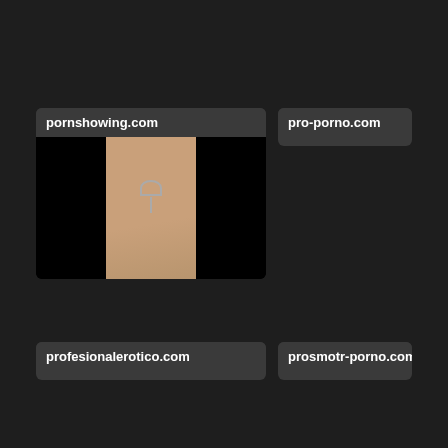pornshowing.com
[Figure (photo): Thumbnail image showing close-up skin tone content with dark sides]
pro-porno.com
profesionalerotico.com
prosmotr-porno.com